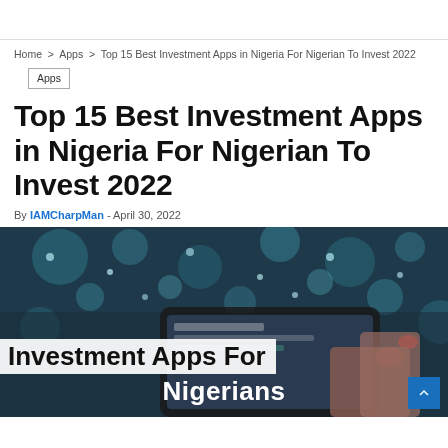Home > Apps > Top 15 Best Investment Apps in Nigeria For Nigerian To Invest 2022
Apps
Top 15 Best Investment Apps in Nigeria For Nigerian To Invest 2022
By IAMCharpMan - April 30, 2022
[Figure (photo): Hero image showing hands holding a smartphone with investment apps, overlaid with text 'Investment Apps For Nigerians' on a blue/teal bokeh background.]